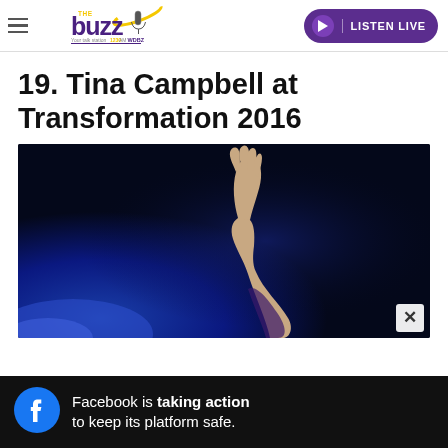The Buzz WDBZ 1230 — LISTEN LIVE
19. Tina Campbell at Transformation 2016
[Figure (photo): A performer on stage raising one hand upward against a dramatic dark blue/purple lit background. The arm is reaching up with an open gesture. Stage lighting creates a deep blue atmosphere.]
Facebook is taking action to keep its platform safe.